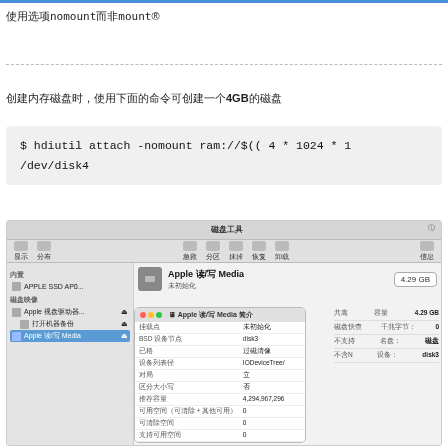使用选项nomount而非mount®
创建内存磁盘时，使用下面的命令可创建一个4GB的磁盘
$ hdiutil attach -nomount ram://$(( 4 * 1024 * 1
/dev/disk4
[Figure (screenshot): macOS Disk Utility screenshot showing Apple 读/写 Media, 4.29 GB, with disk info panel showing BSD设备节点 disk3, 容量 4,294,967,296]